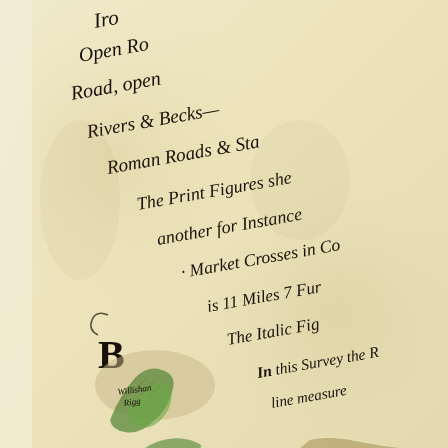[Figure (illustration): A detail from an 18th-century hand-drawn cartographic legend on aged parchment, showing cursive script annotations describing map symbols (Open Roads, Road open, Rivers & Becks, Roman Roads, The Print Figures shew, another for Instance, Market Crosses in Co., is 11 Miles 7 Fur., The Italic Fig., In this Survey the R., line measure) and a decorative capital letter B, with a small inset green-coloured map of a place called Willishan Rigg at the lower left.]